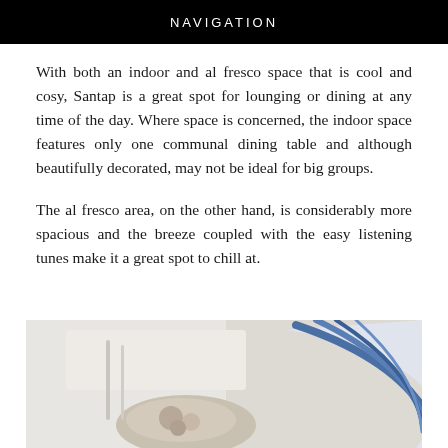NAVIGATION
With both an indoor and al fresco space that is cool and cosy, Santap is a great spot for lounging or dining at any time of the day. Where space is concerned, the indoor space features only one communal dining table and although beautifully decorated, may not be ideal for big groups.
The al fresco area, on the other hand, is considerably more spacious and the breeze coupled with the easy listening tunes make it a great spot to chill at.
[Figure (photo): Close-up photo of food dish with blue decorative plate element, partially visible]